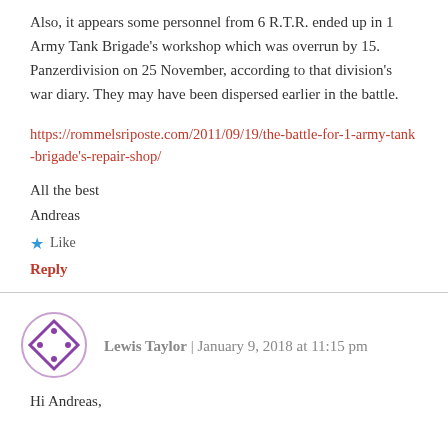Also, it appears some personnel from 6 R.T.R. ended up in 1 Army Tank Brigade's workshop which was overrun by 15. Panzerdivision on 25 November, according to that division's war diary. They may have been dispersed earlier in the battle.
https://rommelsriposte.com/2011/09/19/the-battle-for-1-army-tank-brigade's-repair-shop/
All the best
Andreas
★ Like
Reply
Lewis Taylor | January 9, 2018 at 11:15 pm
Hi Andreas,